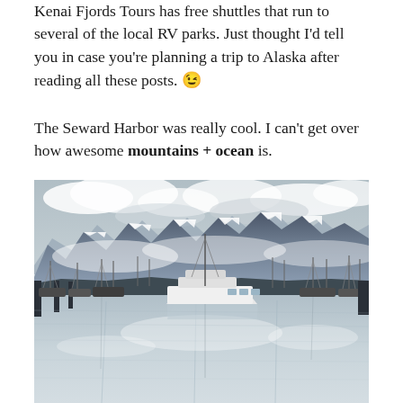Kenai Fjords Tours has free shuttles that run to several of the local RV parks. Just thought I'd tell you in case you're planning a trip to Alaska after reading all these posts. 😉
The Seward Harbor was really cool. I can't get over how awesome mountains + ocean is.
[Figure (photo): Photo of Seward Harbor marina with numerous sailboats and fishing vessels moored in calm water reflecting cloudy sky, with snow-capped mountains in the background.]